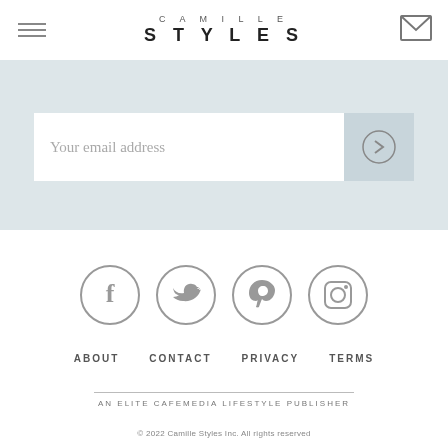CAMILLE STYLES
Your email address
[Figure (other): Social media icons: Facebook, Twitter, Pinterest, Instagram — circular outlined icons in gray]
ABOUT   CONTACT   PRIVACY   TERMS
AN ELITE CAFEMEDIA LIFESTYLE PUBLISHER
© 2022 Camille Styles Inc. All rights reserved